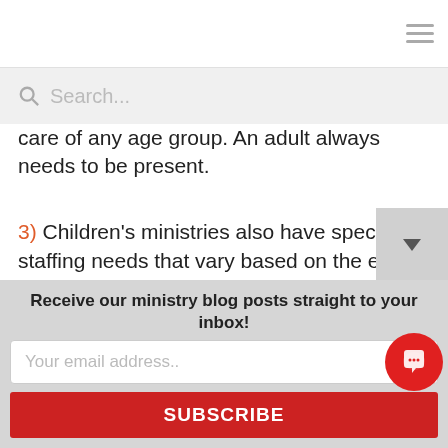Search...
care of any age group. An adult always needs to be present.
3) Children's ministries also have special staffing needs that vary based on the event or occasion. The number of volunteers needed on Sunday morning may be lower than during Vacation Bible School. Make sure your church has backups who are trained, screened, and ready to volunteer for special events and when regular volunteers are on vacation or hiatus.
Receive our ministry blog posts straight to your inbox!
Your email address..
SUBSCRIBE